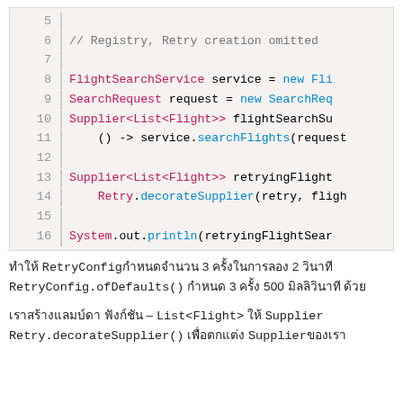[Figure (screenshot): Code snippet showing Java code lines 5-16 with FlightSearchService, SearchRequest, Supplier<List<Flight>>, Retry.decorateSupplier, and System.out.println calls on a light gray background]
ทำให้ RetryConfig กำหนดจำนวน 3 ครั้งในการลอง 2 วินาที RetryConfig.ofDefaults() กำหนด 3 ครั้ง 500 มิลลิวินาที ด้วย
เราสร้างแลมบ์ดา ฟังก์ชัน – List<Flight> ให้ Supplier Retry.decorateSupplier() เพื่อตกแต่ง Supplier ของเรา